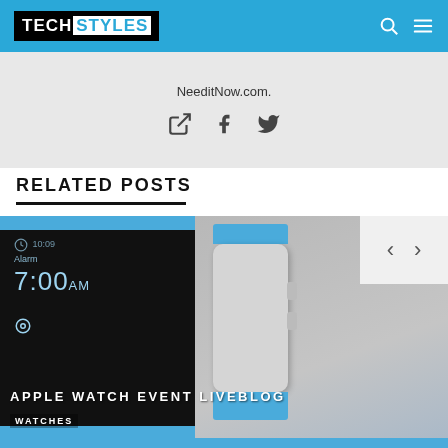TECH STYLES
NeeditNow.com.
[Figure (screenshot): Apple Watch promotional image showing two Apple Watches with blue sport bands. Left watch shows alarm screen at 10:09, right shows profile view. Overlay text reads APPLE WATCH EVENT LIVEBLOG / WATCHES]
RELATED POSTS
APPLE WATCH EVENT LIVEBLOG
WATCHES